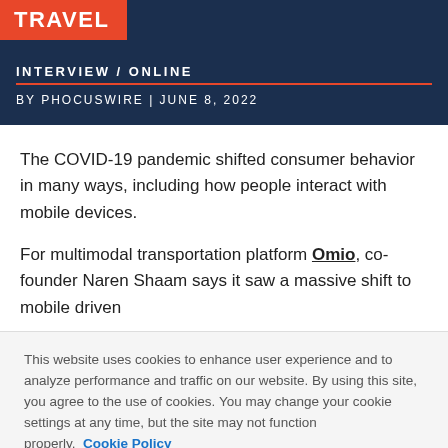TRAVEL
INTERVIEW / ONLINE
BY PHOCUSWIRE | JUNE 8, 2022
The COVID-19 pandemic shifted consumer behavior in many ways, including how people interact with mobile devices.
For multimodal transportation platform Omio, co-founder Naren Shaam says it saw a massive shift to mobile driven
This website uses cookies to enhance user experience and to analyze performance and traffic on our website. By using this site, you agree to the use of cookies. You may change your cookie settings at any time, but the site may not function properly.  Cookie Policy